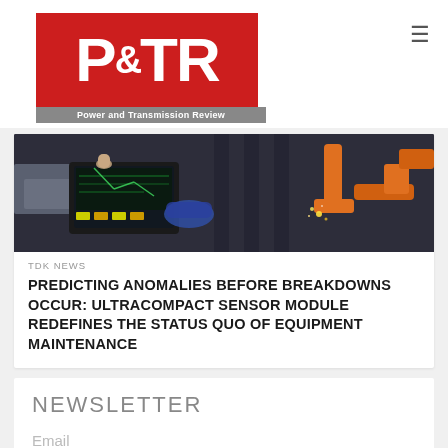[Figure (logo): P&TR Power and Transmission Review logo — red background with white bold P&TR text and grey subtitle bar]
[Figure (photo): Industrial scene showing a person operating a tablet/control panel with robotic arm welding equipment in the background, sparks visible]
TDK NEWS
PREDICTING ANOMALIES BEFORE BREAKDOWNS OCCUR: ULTRACOMPACT SENSOR MODULE REDEFINES THE STATUS QUO OF EQUIPMENT MAINTENANCE
NEWSLETTER
Email